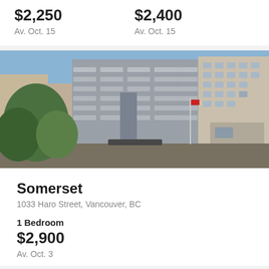$2,250
Av. Oct. 15
$2,400
Av. Oct. 15
[Figure (photo): Exterior photo of a multi-story apartment building with balconies, surrounded by trees, in an urban setting.]
Somerset
1033 Haro Street, Vancouver, BC
1 Bedroom
$2,900
Av. Oct. 3